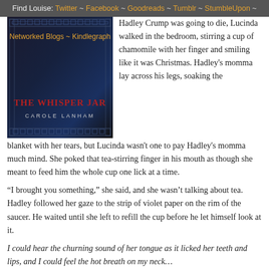Find Louise: Twitter ~ Facebook ~ Goodreads ~ Tumblr ~ StumbleUpon ~ Networked Blogs ~ Kindlegraph
[Figure (photo): Book cover for 'The Whisper Jar' by Carole Lanham, dark background with ornate patterns, red title text]
Hadley Crump was going to die, Lucinda walked in the bedroom, stirring a cup of chamomile with her finger and smiling like it was Christmas. Hadley's momma lay across his legs, soaking the blanket with her tears, but Lucinda wasn't one to pay Hadley's momma much mind. She poked that tea-stirring finger in his mouth as though she meant to feed him the whole cup one lick at a time.
“I brought you something,” she said, and she wasn’t talking about tea. Hadley followed her gaze to the strip of violet paper on the rim of the saucer. He waited until she left to refill the cup before he let himself look at it.
I could hear the churning sound of her tongue as it licked her teeth and lips, and I could feel the hot breath on my neck…
About the time he got to the hot breath part, Hadley’s fingers let loose and the words loopty-looped away with all the devilish momentum of a